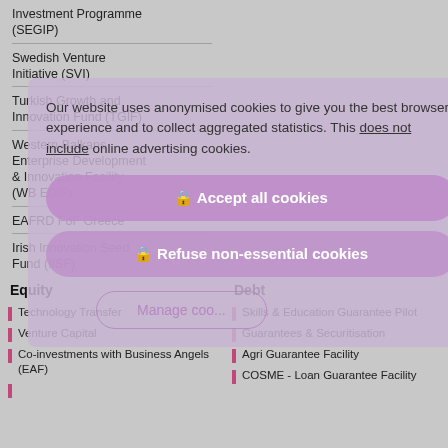Investment Programme (SEGIP)
Swedish Venture Initiative (SVI)
Turkish Growth and Innovation Fund (TGIF)
Western Balkans Enterprise Development & Innovation Facility (WB EDIF)
EAFRD FoF Greece
Irish Innovation Seed Fund (IISF)
Equity
Debt
Technology Transfer
Venture Capital
Co-investments with Business Angels (EAF)
Skills & Education Guarantee Pilot
Guarantees & Securitisation
Agri Guarantee Facility
COSME - Loan Guarantee Facility